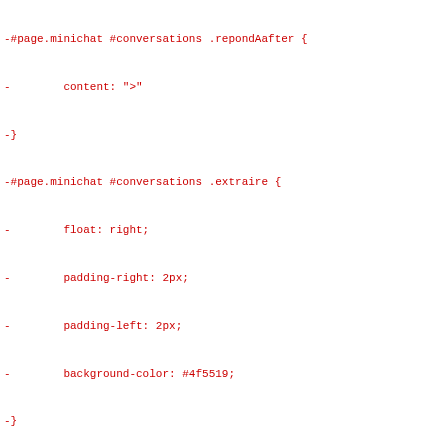Git diff output showing changes to CSS and tools.rb files
-#page.minichat #conversations .repondAafter {
-        content: ">"
-}
-#page.minichat #conversations .extraire {
-        float: right;
-        padding-right: 2px;
-        padding-left: 2px;
-        background-color: #4f5519;
-}
-#page.minichat #conversations .extraire:after {
+#page.minichat.repondA:after {
        content: ">"
 }
-#page.minichat #conversations .extraire:hover {
-        background-color: #818c27
-}
diff --git a/tools/tools.rb b/tools/tools.rb
index 3fa7497..127e3f3 100644 (file)
--- a/tools/tools.rb
+++ b/tools/tools.rb
@@ -28,9 +28,9 @@ along with Euphorik.  If not, see <http:/
 # - Mise en production et en preproduction
 # tools.rb peut s'utiliser à la ligne de commande, exemples
 # * Mise en production :
-#  ./tools.rb --doprod gburri@euphorik.ch:/var/www/euphorik
+#  ./tools.rb prod gburri@euphorik.ch:/var/www/euphorik
 # * Mise en préproduction, l'emplacement de production peut
-#  ./tools.rb --dopreprod gburri@euphorik.ch:/var/www/eupho
+#  ./tools.rb pre gburri@euphorik.ch:/var/www/euphorik_prep
  # voir : http://net-ssh.rubyforge.org/ssh/v2/api/index.html